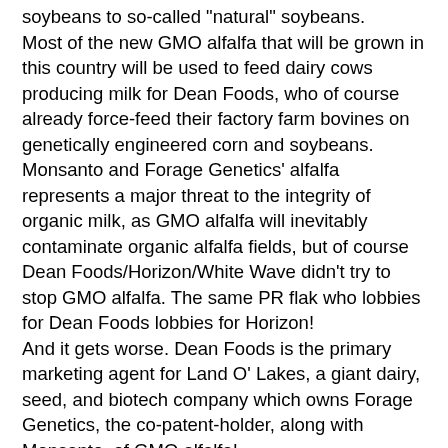soybeans to so-called "natural" soybeans. Most of the new GMO alfalfa that will be grown in this country will be used to feed dairy cows producing milk for Dean Foods, who of course already force-feed their factory farm bovines on genetically engineered corn and soybeans. Monsanto and Forage Genetics' alfalfa represents a major threat to the integrity of organic milk, as GMO alfalfa will inevitably contaminate organic alfalfa fields, but of course Dean Foods/Horizon/White Wave didn't try to stop GMO alfalfa. The same PR flak who lobbies for Dean Foods lobbies for Horizon! And it gets worse. Dean Foods is the primary marketing agent for Land O' Lakes, a giant dairy, seed, and biotech company which owns Forage Genetics, the co-patent-holder, along with Monsanto, of GMO alfalfa! Land O' Lakes, is the largest livestock feed seller in the U.S. With almost all soy and corn being GMO, and 98% of soy and 60% of corn being used as animal feed, that makes Land O' Lakes the biggest pusher of Monsanto's GMO crops. Land O' Lakes also sells Monsanto's GMO seeds and Roundup herbicide. As a dairy processor, Land O' Lakes used to be a competitor